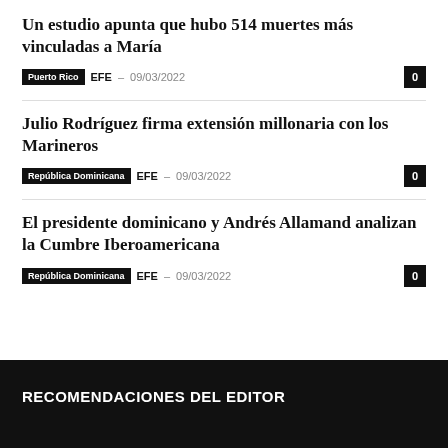Un estudio apunta que hubo 514 muertes más vinculadas a María
Puerto Rico  EFE – 09/03/2022  0
Julio Rodríguez firma extensión millonaria con los Marineros
República Dominicana  EFE – 09/03/2022  0
El presidente dominicano y Andrés Allamand analizan la Cumbre Iberoamericana
República Dominicana  EFE – 09/03/2022  0
RECOMENDACIONES DEL EDITOR